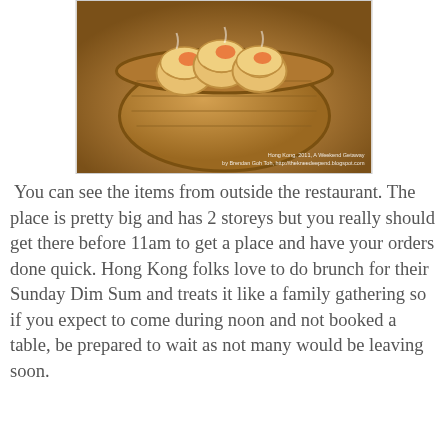[Figure (photo): Dim sum (siu mai dumplings) in a bamboo steamer basket, photographed from above. Photo watermark: Hong Kong, 2011, A Weekend Getaway by Brendan Goh Toh, http://thekneedeepend.blogspot.com]
You can see the items from outside the restaurant. The place is pretty big and has 2 storeys but you really should get there before 11am to get a place and have your orders done quick. Hong Kong folks love to do brunch for their Sunday Dim Sum and treats it like a family gathering so if you expect to come during noon and not booked a table, be prepared to wait as not many would be leaving soon.
[Figure (photo): Restaurant display window showing hanging roasted meats (duck/char siu) and dishes on a counter. Photo watermark: Hong Kong, 2011, A Weekend Getaway by Brendan Goh Toh, http://thekneedeepend.blogspot.com]